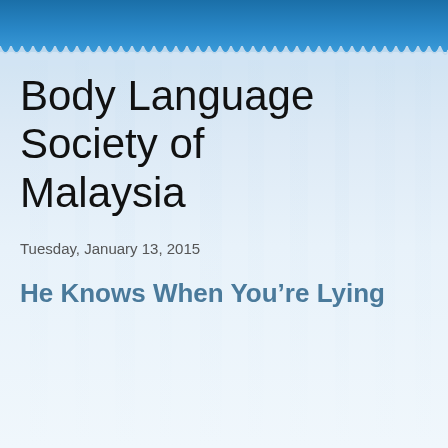Body Language Society of Malaysia
Tuesday, January 13, 2015
He Knows When You’re Lying